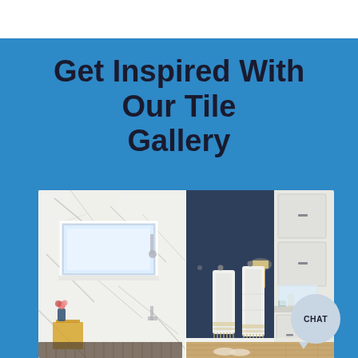Get Inspired With Our Tile Gallery
[Figure (photo): Bathroom interior with white marble-tile shower on the left, navy blue accent wall with hanging white towels in the center, and white cabinetry with a vanity on the right. Hardwood floor, patterned bath mat, and gold-tone fixtures and lighting visible.]